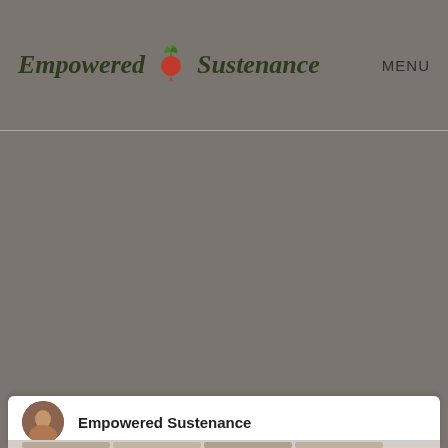Empowered Sustenance  MENU
[Figure (photo): Large greyed-out main content area below the header, showing the central body of a webpage with a grayish overlay covering most of the page content]
Empowered Sustenance
[Figure (photo): Partial view of thumbnail images at the very bottom of the page inside a white card, showing cropped food-related images]